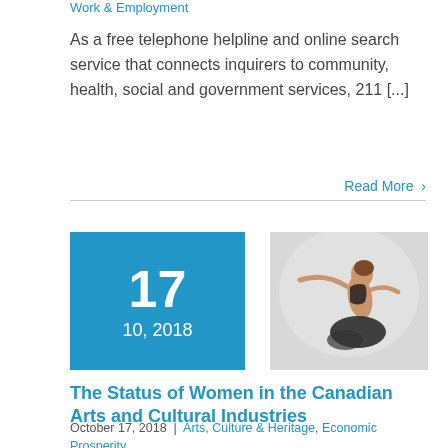Work & Employment
As a free telephone helpline and online search service that connects inquirers to community, health, social and government services, 211 [...]
Read More >
17
10, 2018
[Figure (photo): A ballet dancer in a black tutu extending her arm gracefully against a light grey background]
The Status of Women in the Canadian Arts and Cultural Industries
October 17, 2018 | Arts, Culture & Heritage, Economic Prosperity,